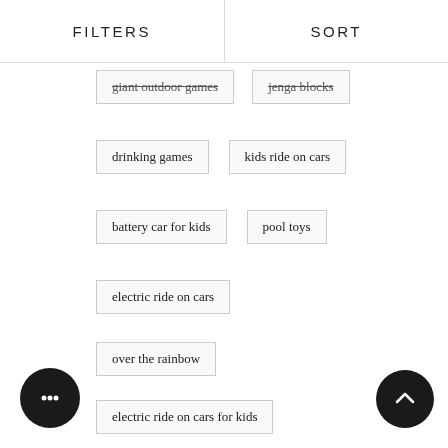FILTERS   SORT
giant outdoor games
jenga blocks
drinking games
kids ride on cars
battery car for kids
pool toys
electric ride on cars
over the rainbow
electric ride on cars for kids
kids swing set
kids ride on tractor
le tikes car